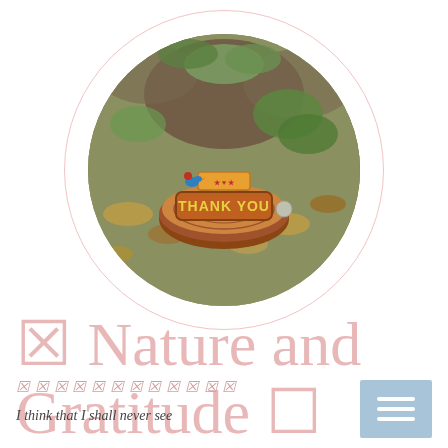[Figure (photo): Circular framed photo of a woodland scene with a painted log stump displaying 'THANK YOU' in green and red lettering, surrounded by leaves, moss and roots. A small decorative sign sits on top. Framed by a larger pink outline circle.]
🍃 Nature and Gratitude 🌿
🍂 🍃 🌿 🍁 🌱 🌾 🍀 🌸 🌺 🌻 🌼 🌷
I think that I shall never see